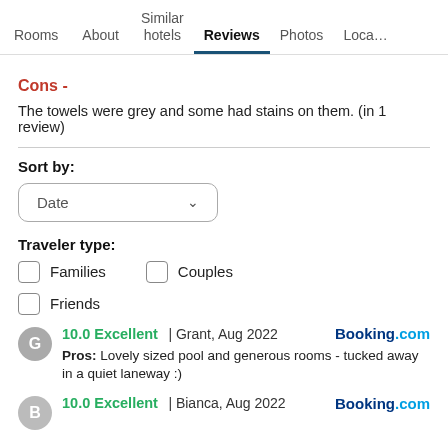Rooms | About | Similar hotels | Reviews | Photos | Loca…
Cons -
The towels were grey and some had stains on them. (in 1 review)
Sort by:
Date
Traveler type:
Families
Couples
Friends
10.0 Excellent | Grant, Aug 2022  Booking.com
Pros: Lovely sized pool and generous rooms - tucked away in a quiet laneway :)
10.0 Excellent | Bianca, Aug 2022  Booking.com